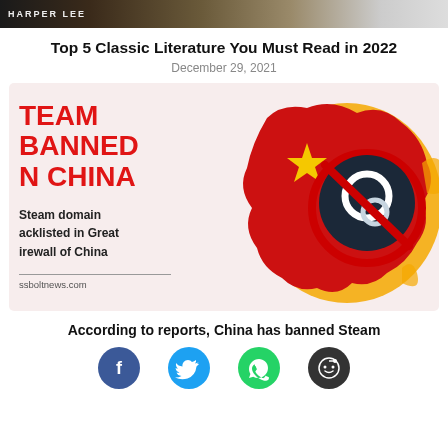[Figure (photo): Top banner image showing Harper Lee book cover or related image with text HARPER LEE visible]
Top 5 Classic Literature You Must Read in 2022
December 29, 2021
[Figure (infographic): Infographic showing Steam Banned in China. Red China map shape with flame border, yellow star, and Steam logo with a red prohibition sign overlaid. Text reads: STEAM BANNED IN CHINA. Steam domain blacklisted in Great Firewall of China. Source: ssboltnews.com]
According to reports, China has banned Steam
[Figure (infographic): Social media sharing icons: Facebook (blue), Twitter (cyan), WhatsApp (green), Reddit (dark gray)]